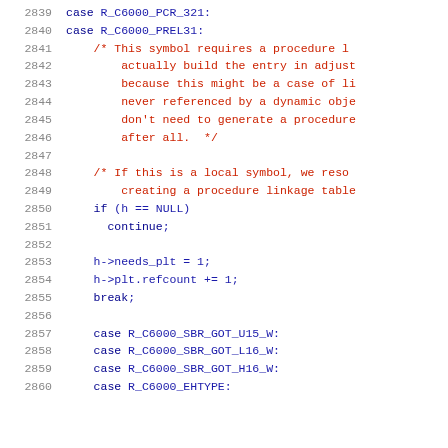[Figure (screenshot): Source code listing showing C code lines 2839-2860 with line numbers on the left, syntax highlighted in blue and dark red for comments.]